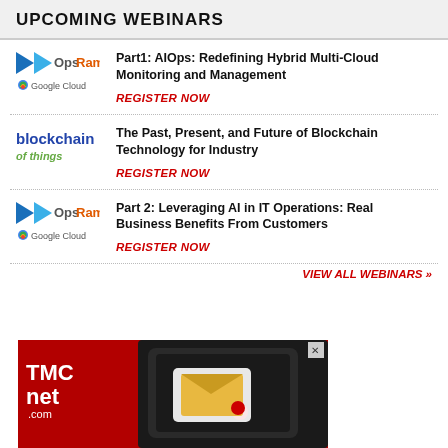UPCOMING WEBINARS
Part1: AIOps: Redefining Hybrid Multi-Cloud Monitoring and Management — REGISTER NOW
The Past, Present, and Future of Blockchain Technology for Industry — REGISTER NOW
Part 2: Leveraging AI in IT Operations: Real Business Benefits From Customers — REGISTER NOW
VIEW ALL WEBINARS »
[Figure (photo): TMCnet.com advertisement banner with red background, TMCnet logo on the left, and a dark phone with envelope/message icon on the right]